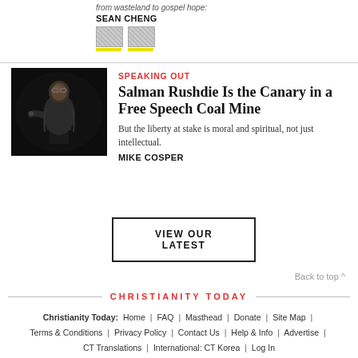from wasteland to gospel hope:
SEAN CHENG
[Figure (other): Two small rating/badge boxes with yellow labels beneath them]
[Figure (photo): Dark photo of a man speaking at a podium or microphone, black background]
SPEAKING OUT
Salman Rushdie Is the Canary in a Free Speech Coal Mine
But the liberty at stake is moral and spiritual, not just intellectual.
MIKE COSPER
VIEW OUR LATEST
Back to top ^
CHRISTIANITY TODAY
Christianity Today: Home | FAQ | Masthead | Donate | Site Map | Terms & Conditions | Privacy Policy | Contact Us | Help & Info | Advertise | CT Translations | International: CT Korea | Log In